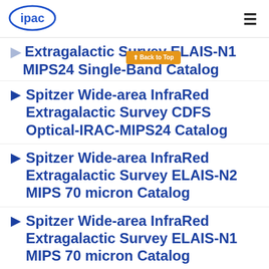ipac
Extragalactic Survey ELAIS-N1 MIPS24 Single-Band Catalog
Spitzer Wide-area InfraRed Extragalactic Survey CDFS Optical-IRAC-MIPS24 Catalog
Spitzer Wide-area InfraRed Extragalactic Survey ELAIS-N2 MIPS 70 micron Catalog
Spitzer Wide-area InfraRed Extragalactic Survey ELAIS-N1 MIPS 70 micron Catalog